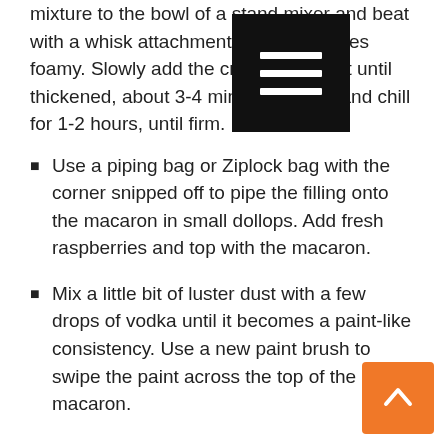mixture to the bowl of a stand mixer and beat with a whisk attachment until it becomes foamy. Slowly add the cream and beat until thickened, about 3-4 minutes. Cover and chill for 1-2 hours, until firm.
Use a piping bag or Ziplock bag with the corner snipped off to pipe the filling onto the macaron in small dollops. Add fresh raspberries and top with the macaron.
Mix a little bit of luster dust with a few drops of vodka until it becomes a paint-like consistency. Use a new paint brush to swipe the paint across the top of the macaron.